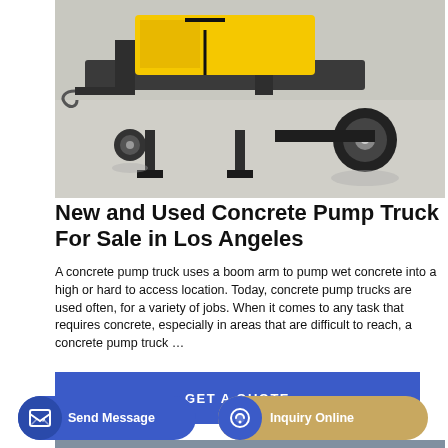[Figure (photo): A concrete pump truck on a concrete floor, showing yellow and dark gray boom/frame structure with wheels, parked indoors.]
New and Used Concrete Pump Truck For Sale in Los Angeles
A concrete pump truck uses a boom arm to pump wet concrete into a high or hard to access location. Today, concrete pump trucks are used often, for a variety of jobs. When it comes to any task that requires concrete, especially in areas that are difficult to reach, a concrete pump truck …
GET A QUOTE
[Figure (photo): Outdoor industrial scene with large blue and white cylindrical silos/towers with Chinese characters, set against a hillside/mountain background.]
Send Message
Inquiry Online